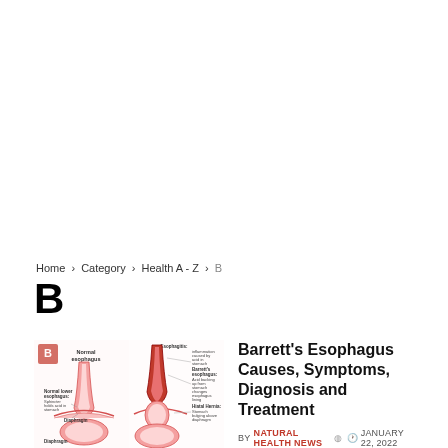Home > Category > Health A - Z > B
B
[Figure (illustration): Medical illustration showing Barrett's Esophagus: two side-by-side diagrams of the esophagus and stomach. Left diagram shows normal lower esophagus with sphincter and diaphragm labeled. Right diagram shows esophagitis/Barrett's esophagus with acid backing up from stomach, and hiatal hernia with stomach bulging above diaphragm. Red letter B badge in top-left corner.]
Barrett's Esophagus Causes, Symptoms, Diagnosis and Treatment
BY NATURAL HEALTH NEWS  JANUARY 22, 2022